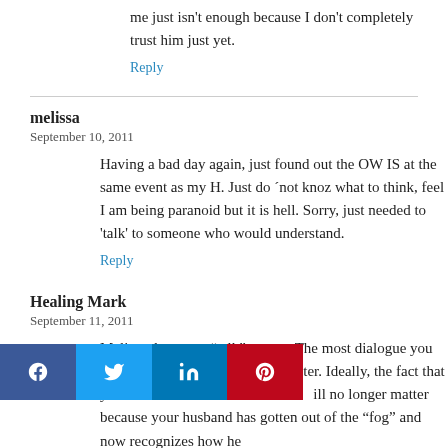me just isn't enough because I don't completely trust him just yet.
Reply
melissa
September 10, 2011
Having a bad day again, just found out the OW IS at the same event as my H. Just do ´not knoz what to think, feel I am being paranoid but it is hell. Sorry, just needed to 'talk' to someone who would understand.
Reply
Healing Mark
September 11, 2011
Melissa, happy to "talk" to you. The most dialogue you can have with your spouse the better. Ideally, the fact that your husband is at the same event will no longer matter because your husband has gotten out of the "fog" and now recognizes how he
[Figure (infographic): Social share bar with Facebook, Twitter, LinkedIn, and Pinterest buttons]